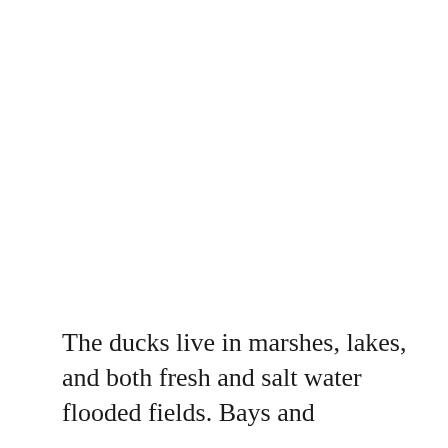The ducks live in marshes, lakes, and both fresh and salt water flooded fields. Bays and